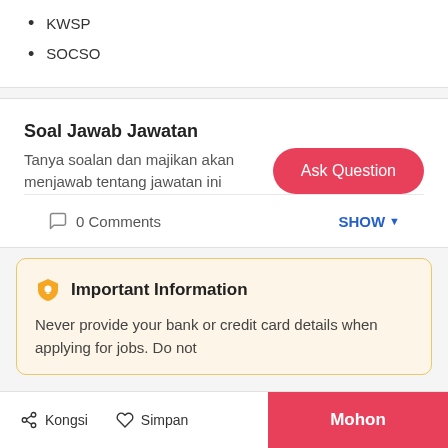KWSP
SOCSO
Soal Jawab Jawatan
Tanya soalan dan majikan akan menjawab tentang jawatan ini
0 Comments
SHOW
Important Information
Never provide your bank or credit card details when applying for jobs. Do not
Kongsi   Simpan   Mohon